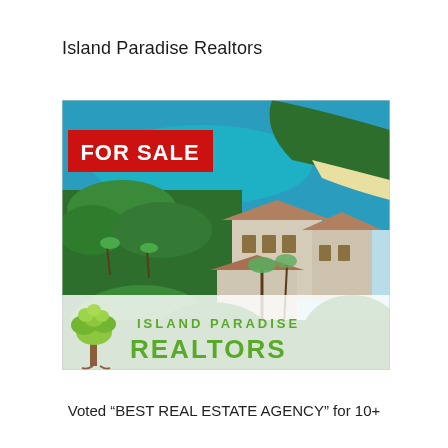Island Paradise Realtors
[Figure (photo): Aerial photograph of a tropical island luxury estate with turquoise water and lush greenery, overlaid with a red 'FOR SALE' banner in the top-left corner and an Island Paradise Realtors logo (green tree illustration + green text 'ISLAND PARADISE REALTORS') in the bottom portion of the image.]
Voted “BEST REAL ESTATE AGENCY” for 10+